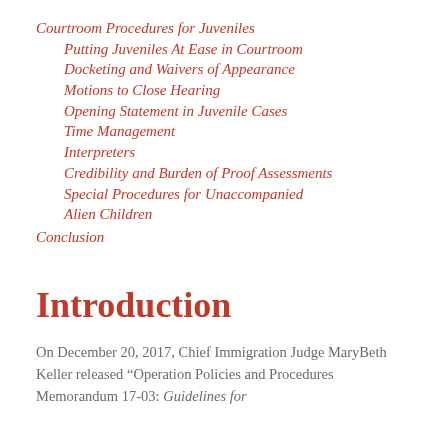Courtroom Procedures for Juveniles
Putting Juveniles At Ease in Courtroom
Docketing and Waivers of Appearance
Motions to Close Hearing
Opening Statement in Juvenile Cases
Time Management
Interpreters
Credibility and Burden of Proof Assessments
Special Procedures for Unaccompanied Alien Children
Conclusion
Introduction
On December 20, 2017, Chief Immigration Judge MaryBeth Keller released “Operation Policies and Procedures Memorandum 17-03: Guidelines for